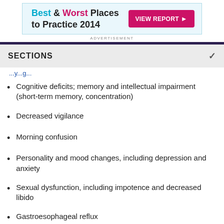[Figure (infographic): Advertisement banner for 'Best & Worst Places to Practice 2014' with a 'VIEW REPORT' button]
ADVERTISEMENT
SECTIONS
...y...g...
Cognitive deficits; memory and intellectual impairment (short-term memory, concentration)
Decreased vigilance
Morning confusion
Personality and mood changes, including depression and anxiety
Sexual dysfunction, including impotence and decreased libido
Gastroesophageal reflux